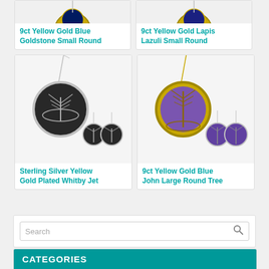[Figure (photo): 9ct Yellow Gold Blue Goldstone Small Round pendant product image (partially visible at top)]
9ct Yellow Gold Blue Goldstone Small Round
[Figure (photo): 9ct Yellow Gold Lapis Lazuli Small Round pendant product image (partially visible at top)]
9ct Yellow Gold Lapis Lazuli Small Round
[Figure (photo): Sterling Silver Yellow Gold Plated Whitby Jet tree of life pendant and earrings set]
Sterling Silver Yellow Gold Plated Whitby Jet
[Figure (photo): 9ct Yellow Gold Blue John Large Round Tree pendant and earrings set]
9ct Yellow Gold Blue John Large Round Tree
Search
CATEGORIES
Accessories